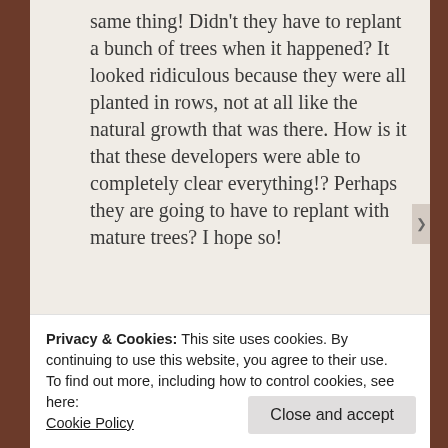same thing! Didn't they have to replant a bunch of trees when it happened? It looked ridiculous because they were all planted in rows, not at all like the natural growth that was there. How is it that these developers were able to completely clear everything!? Perhaps they are going to have to replant with mature trees? I hope so!
★ Like
Reply
Privacy & Cookies: This site uses cookies. By continuing to use this website, you agree to their use. To find out more, including how to control cookies, see here: Cookie Policy
Close and accept